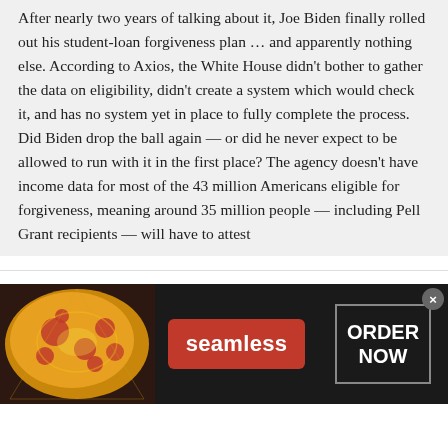After nearly two years of talking about it, Joe Biden finally rolled out his student-loan forgiveness plan … and apparently nothing else. According to Axios, the White House didn't bother to gather the data on eligibility, didn't create a system which would check it, and has no system yet in place to fully complete the process. Did Biden drop the ball again — or did he never expect to be allowed to run with it in the first place? The agency doesn't have income data for most of the 43 million Americans eligible for forgiveness, meaning around 35 million people — including Pell Grant recipients — will have to attest
Parents wonder: Does Biden's student debt handout include college loans
21 replies
[Figure (infographic): Seamless food delivery advertisement banner showing pizza on the left, a red Seamless button in the center, and an ORDER NOW button on the right with a close X button]